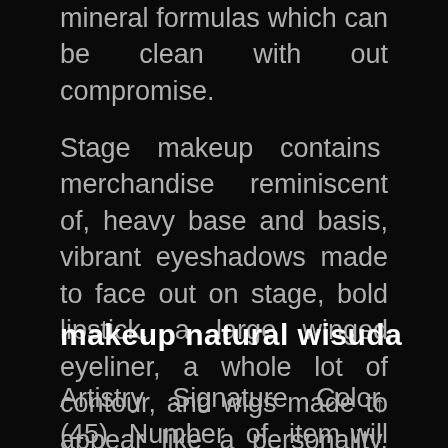mineral formulas which can be clean with out compromise.
Stage makeup contains merchandise reminiscent of, heavy base and basis, vibrant eyeshadows made to face out on stage, bold lipstick, a large winged eyeliner, a whole lot of contour, and wigs made to appear like a personality. Primer is applied all through the face including eyes, lips, and lashes.
makeup natural wisuda
Artistry Signature Color (45) Number of item will refresh the web page with new outcomes.